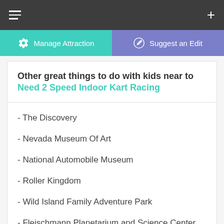≡  +
⚙ Manage Attraction | ✎ Suggest an Edit
Other great things to do with kids near to Need 2 Speed Indoor Kart Racing
- The Discovery
- Nevada Museum Of Art
- National Automobile Museum
- Roller Kingdom
- Wild Island Family Adventure Park
- Fleischmann Planetarium and Science Center
- Wilbur D May Center
- Virginia and Truckee Railroad